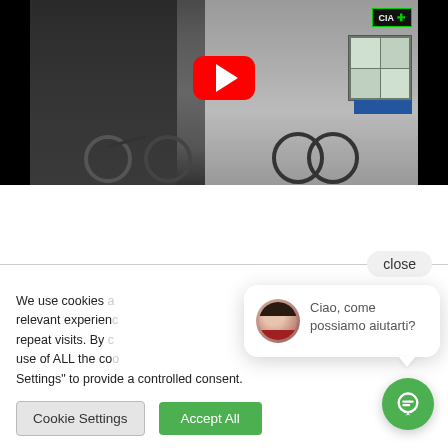[Figure (screenshot): YouTube video thumbnail showing a pharmacy storefront (CIA Farmacia with green cross sign) with bicycles parked outside, overlaid with a red YouTube play button. Black bars on left and right sides.]
close
We use cookies relevant experien repeat visits. By use of ALL the co Settings" to provide a controlled consent.
[Figure (screenshot): Live chat popup bubble showing a female avatar and Italian text: 'Ciao, come possiamo aiutarti?']
Cookie Settings
Accept All